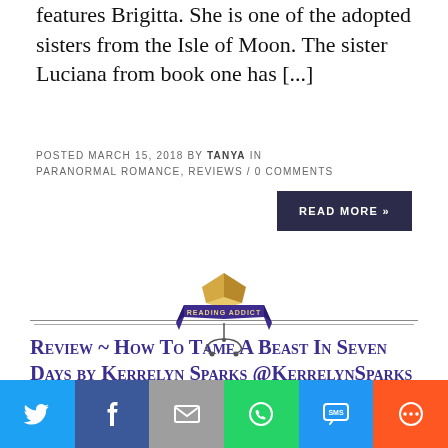features Brigitta. She is one of the adopted sisters from the Isle of Moon. The sister Luciana from book one has [...]
POSTED MARCH 15, 2018 BY TANYA IN PARANORMAL ROMANCE, REVIEWS / 0 COMMENTS
READ MORE »
[Figure (logo): Reading Addict logo — open book with decorative banner and ornament, centered between two horizontal rules]
Review ~ How To Tame A Beast In Seven Days by Kerrelyn Sparks @KerrelynSparks
[Figure (infographic): Social sharing bar with icons: Twitter (blue), Facebook (dark blue), Email (grey), WhatsApp (green), SMS (blue), More (orange)]